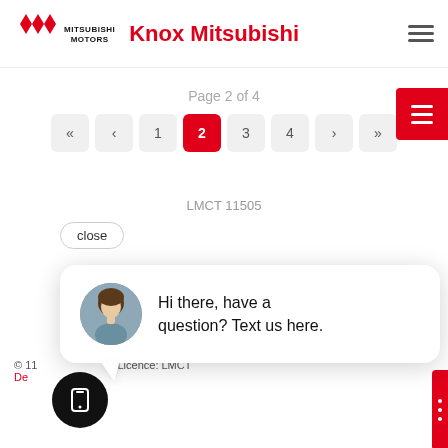Knox Mitsubishi
Page 2 of 4
[Figure (screenshot): Pagination bar showing pages 1, 2 (active/highlighted in red), 3, 4 with navigation arrows]
close
LMCT 11505
Hi there, have a question? Text us here.
© 11 Dealer Licence: LMCT De...